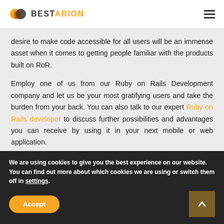BESTARION
desire to make code accessible for all users will be an immense asset when it comes to getting people familiar with the products built on RoR.
Employ one of us from our Ruby on Rails Development company and let us be your most gratifying users and take the burden from your back. You can also talk to our expert Ruby on Rails developer to discuss further possibilities and advantages you can receive by using it in your next mobile or web application.
We are using cookies to give you the best experience on our website.
You can find out more about which cookies we are using or switch them off in settings.